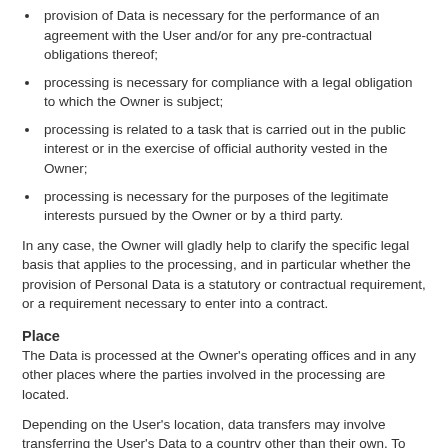provision of Data is necessary for the performance of an agreement with the User and/or for any pre-contractual obligations thereof;
processing is necessary for compliance with a legal obligation to which the Owner is subject;
processing is related to a task that is carried out in the public interest or in the exercise of official authority vested in the Owner;
processing is necessary for the purposes of the legitimate interests pursued by the Owner or by a third party.
In any case, the Owner will gladly help to clarify the specific legal basis that applies to the processing, and in particular whether the provision of Personal Data is a statutory or contractual requirement, or a requirement necessary to enter into a contract.
Place
The Data is processed at the Owner's operating offices and in any other places where the parties involved in the processing are located.
Depending on the User's location, data transfers may involve transferring the User's Data to a country other than their own. To find out more about the place of processing of such transferred Data, Users can check the section containing details about the processing of Personal Data.